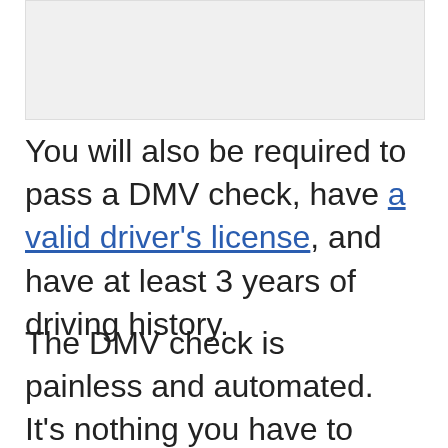[Figure (other): Image placeholder at top of page]
You will also be required to pass a DMV check, have a valid driver's license, and have at least 3 years of driving history.
The DMV check is painless and automated. It's nothing you have to worry about unless it reveals these